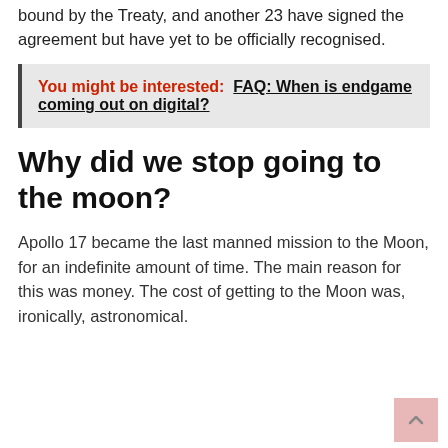bound by the Treaty, and another 23 have signed the agreement but have yet to be officially recognised.
You might be interested:  FAQ: When is endgame coming out on digital?
Why did we stop going to the moon?
Apollo 17 became the last manned mission to the Moon, for an indefinite amount of time. The main reason for this was money. The cost of getting to the Moon was, ironically, astronomical.